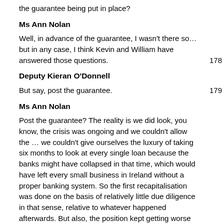the guarantee being put in place?
Ms Ann Nolan
Well, in advance of the guarantee, I wasn't there so… but in any case, I think Kevin and William have answered those questions. 178
Deputy Kieran O'Donnell
But say, post the guarantee. 179
Ms Ann Nolan
Post the guarantee? The reality is we did look, you know, the crisis was ongoing and we couldn't allow the … we couldn't give ourselves the luxury of taking six months to look at every single loan because the banks might have collapsed in that time, which would have left every small business in Ireland without a proper banking system. So the first recapitalisation was done on the basis of relatively little due diligence in that sense, relative to whatever happened afterwards. But also, the position kept getting worse so even if we had looked at everything, a lot of the loans were perfectly okay at the beginning of 2009, they were very bad by 2010 or 2011. Things got worse over the period. 180